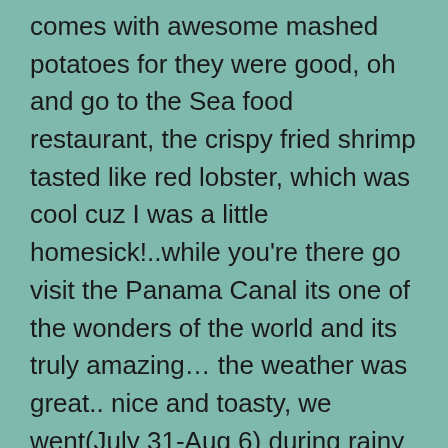comes with awesome mashed potatoes for they were good, oh and go to the Sea food restaurant, the crispy fried shrimp tasted like red lobster, which was cool cuz I was a little homesick!..while you're there go visit the Panama Canal its one of the wonders of the world and its truly amazing… the weather was great.. nice and toasty, we went(July 31-Aug 6) during rainy season which is more than half the year, but it wasn't bad at all, if it did rain itd rain for 10 mins max. and then the sun would be back out.. it was great… insects… you wont really need insect repellent, there weren't any when I visited.. but u never know… the rooms